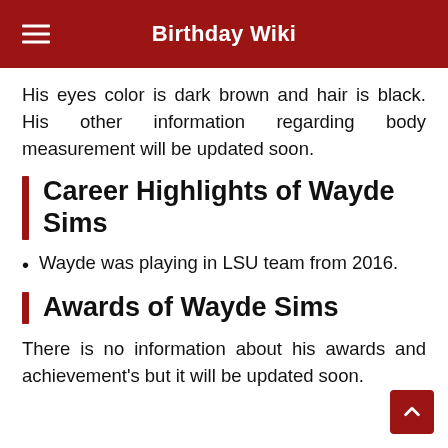Birthday Wiki
His eyes color is dark brown and hair is black. His other information regarding body measurement will be updated soon.
Career Highlights of Wayde Sims
Wayde was playing in LSU team from 2016.
Awards of Wayde Sims
There is no information about his awards and achievement's but it will be updated soon.